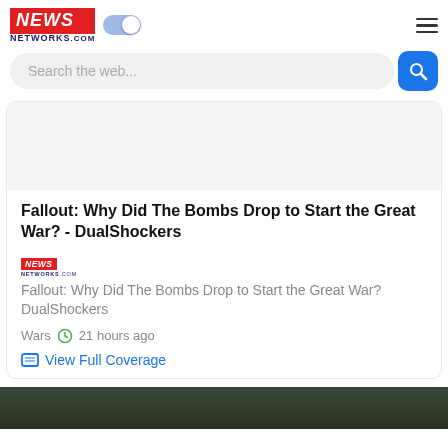NEWS NETWORKS.COM
Search the web...
Fallout: Why Did The Bombs Drop to Start the Great War? - DualShockers
Fallout: Why Did The Bombs Drop to Start the Great War? DualShockers
Wars  21 hours ago
View Full Coverage